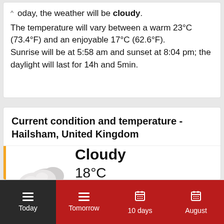oday, the weather will be cloudy. The temperature will vary between a warm 23°C (73.4°F) and an enjoyable 17°C (62.6°F). Sunrise will be at 5:58 am and sunset at 8:04 pm; the daylight will last for 14h and 5min.
Current condition and temperature - Hailsham, United Kingdom
[Figure (illustration): Cloud weather icon showing grey clouds]
Cloudy
18°C
Feels like: 18°C
Today  Tomorrow  10 days  August